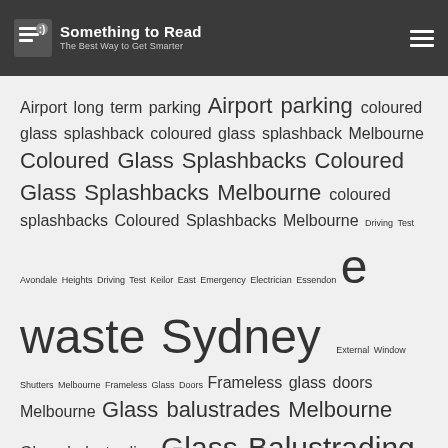Something to Read – The Best Way to Get Smarter
Airport long term parking Airport parking coloured glass splashback coloured glass splashback Melbourne Coloured Glass Splashbacks Coloured Glass Splashbacks Melbourne coloured splashbacks Coloured Splashbacks Melbourne Driving Test Avondale Heights Driving Test Keilor East Emergency Electrician Essendon e waste Sydney External Window Shutters Melbourne Frameless Glass Doors Frameless glass doors Melbourne Glass balustrades Melbourne Glass balustrading Glass Balustrading Melbourne Glass Splashback glass splashbacks Melbourne Home builder IT consultancy IT consultancy Melbourne IT data wipe IT solutions IT solutions Melbourne IT support Melbourne Melbourne airport long term parking Melbourne airport parking Melbourne airport short term parking Plantation shutters Plantation shutters Melbourne Roller shutter Roller shutter Melbourne Roller shutters Roller shutters Melbourne Secure data wipe SEO consultant SEO specialist ...